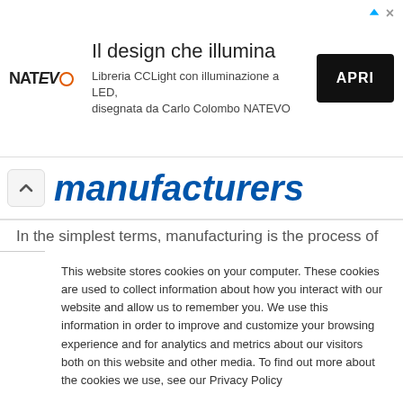[Figure (screenshot): Advertisement banner for NATEVO CCLight LED library designed by Carlo Colombo, with logo, Italian text 'Il design che illumina', and black APRI button]
manufacturers
In the simplest terms, manufacturing is the process of
This website stores cookies on your computer. These cookies are used to collect information about how you interact with our website and allow us to remember you. We use this information in order to improve and customize your browsing experience and for analytics and metrics about our visitors both on this website and other media. To find out more about the cookies we use, see our Privacy Policy

If you decline, your information won't be tracked when you visit this website. A single cookie will be used in your browser to remember your preference not to be tracked.
Accept
Decline